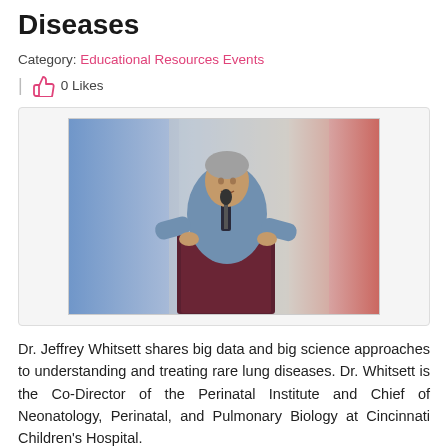Diseases
Category: Educational Resources Events
| 0 Likes
[Figure (photo): A man in a blue shirt standing at a dark wooden podium, speaking at a conference with blue and red lit curtain backdrop.]
Dr. Jeffrey Whitsett shares big data and big science approaches to understanding and treating rare lung diseases. Dr. Whitsett is the Co-Director of the Perinatal Institute and Chief of Neonatology, Perinatal, and Pulmonary Biology at Cincinnati Children's Hospital.
Read More